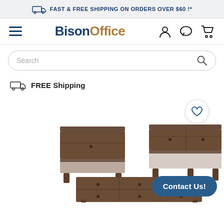FAST & FREE SHIPPING ON ORDERS OVER $60 !*
[Figure (logo): BisonOffice logo with hamburger menu and nav icons (user, chat, cart)]
[Figure (screenshot): Search bar with placeholder text 'Search' and magnifying glass icon]
FREE Shipping
[Figure (photo): Product photo showing three dark brown wooden furniture pieces: a nightstand, a console table with drawers, and a long TV stand/console. A heart/wishlist button is shown top-right. A 'Contact Us!' button is shown bottom-right.]